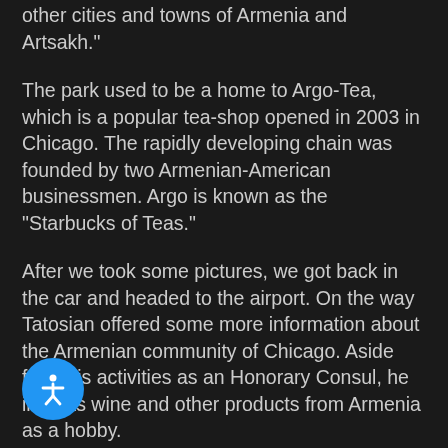other cities and towns of Armenia and Artsakh."
The park used to be a home to Argo-Tea, which is a popular tea-shop opened in 2003 in Chicago. The rapidly developing chain was founded by two Armenian-American businessmen. Argo is known as the “Starbucks of Teas.”
After we took some pictures, we got back in the car and headed to the airport. On the way Tatosian offered some more information about the Armenian community of Chicago. Aside from his activities as an Honorary Consul, he imports wine and other products from Armenia as a hobby.
Today, you can find Armenian goods, such as canned food, jams and dried fruit on the shelves of “Fresh Farms International Market,” which is Chicago’s most popular international grocery market.
[Figure (illustration): Blue circular accessibility button with a white person/accessibility icon in the bottom-left corner of the page]